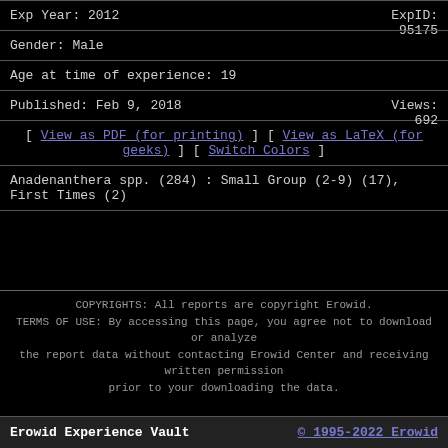Exp Year: 2012 | ExpID: 95175
Gender: Male
Age at time of experience: 19
Published: Feb 9, 2018 | Views: 692
[ View as PDF (for printing) ] [ View as LaTeX (for geeks) ] [ Switch Colors ]
Anadenanthera spp. (284) : Small Group (2-9) (17), First Times (2)
COPYRIGHTS: All reports are copyright Erowid. TERMS OF USE: By accessing this page, you agree not to download or analyze the report data without contacting Erowid Center and receiving written permission prior to your downloading the data. Experience Reports are the writings and opinions of the individual authors who submit them. Some of the activities described are dangerous and/or illegal and none are recommended by Erowid Center.
Erowid Experience Vault | © 1995-2022 Erowid